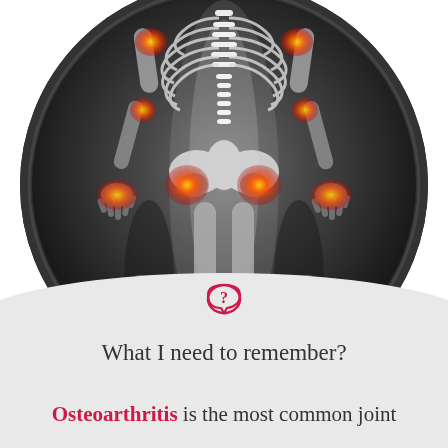[Figure (illustration): Circular medical illustration of a human skeleton/body from behind, with joints highlighted in red/orange/yellow indicating osteoarthritis pain points at hips, knees, hands, wrists, shoulders and ankles, on a dark gray gradient background]
What I need to remember?
Osteoarthritis is the most common joint